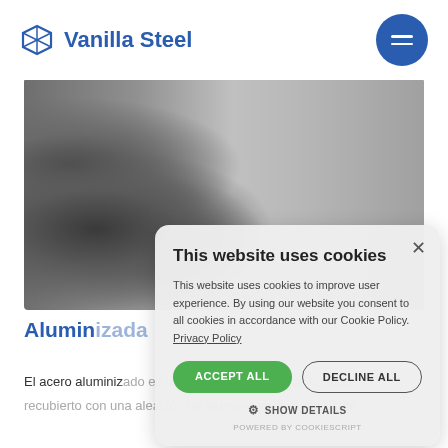Vanilla Steel
[Figure (photo): Industrial warehouse with large rolls of aluminized steel coils stacked, with overhead lighting visible]
Alumin...
El acero aluminiz... ado es un acero al carbono que ha sido
recubierto con una aleación de aluminio y silicio mediante